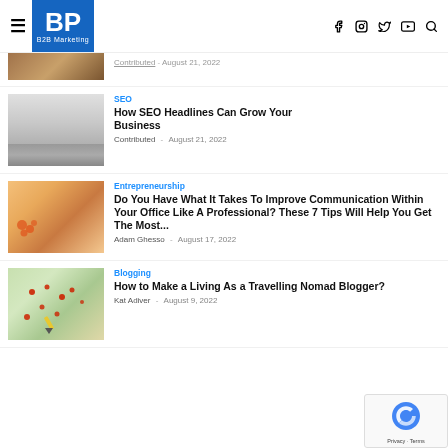BP B2B Marketing — navigation header with hamburger menu, logo, and social icons (Facebook, Instagram, Twitter, YouTube, Search)
Contributed · August 21, 2022
SEO — How SEO Headlines Can Grow Your Business — Contributed · August 21, 2022
Entrepreneurship — Do You Have What It Takes To Improve Communication Within Your Office Like A Professional? These 7 Tips Will Help You Get The Most... — Adam Ghesso · August 17, 2022
Blogging — How to Make a Living As a Travelling Nomad Blogger? — Kat Adiver · August 9, 2022